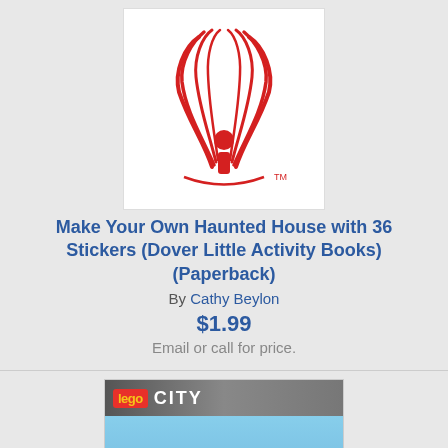[Figure (logo): Red stylized logo with letter i and wing-like shapes, on white background]
Make Your Own Haunted House with 36 Stickers (Dover Little Activity Books) (Paperback)
By Cathy Beylon
$1.99
Email or call for price.
[Figure (photo): LEGO City Sky Police book cover with LEGO minifigure characters, blue sky background, Scholastic publisher]
Sky Police! (LEGO City: Storybook with Stickers) (Paperback)